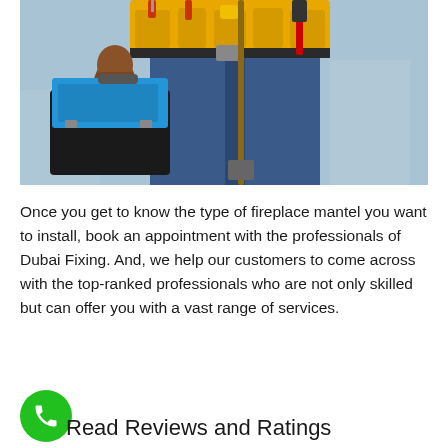[Figure (photo): A worker from the torso down wearing jeans, a yellow tool belt loaded with tools, holding a blue toolbox in one gloved hand and a long-handled tool in the other, against a blurred blue-grey background.]
Once you get to know the type of fireplace mantel you want to install, book an appointment with the professionals of Dubai Fixing. And, we help our customers to come across with the top-ranked professionals who are not only skilled but can offer you with a vast range of services.
Read Reviews and Ratings